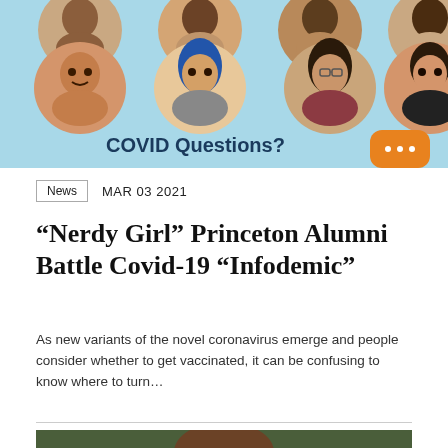[Figure (photo): Banner image with circular profile photos of women on light blue background with text 'COVID Questions?' and an orange chat bubble icon with ellipsis]
News   MAR 03 2021
“Nerdy Girl” Princeton Alumni Battle Covid-19 “Infodemic”
As new variants of the novel coronavirus emerge and people consider whether to get vaccinated, it can be confusing to know where to turn…
[Figure (photo): Portrait photo of an older Black man with glasses against a blurred green outdoor background]